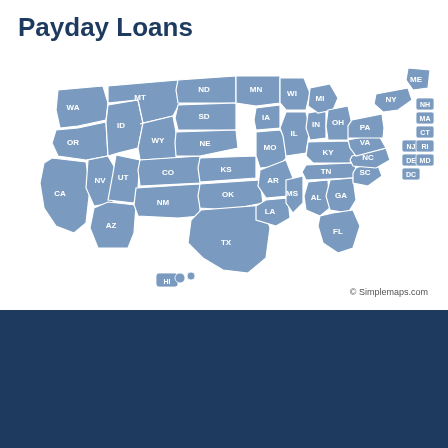Payday Loans
[Figure (map): US map showing states where payday loans are available, highlighted in blue-gray. States labeled with abbreviations: WA, OR, CA, NV, ID, MT, WY, UT, AZ, ND, SD, NE, CO, NM, TX, OK, KS, MN, IA, MO, AR, LA, MS, AL, GA, TN, KY, IN, IL, WI, MI, OH, VA, NC, SC, FL, PA, NY, ME, NH, MA, CT, RI, NJ, DE, MD, DC, HI. Credit: Simplemaps.com]
© Simplemaps.com
[Figure (logo): GAD Capital logo with circular dollar sign icon on dark navy background, white text reading GAD Capital in italic serif font]